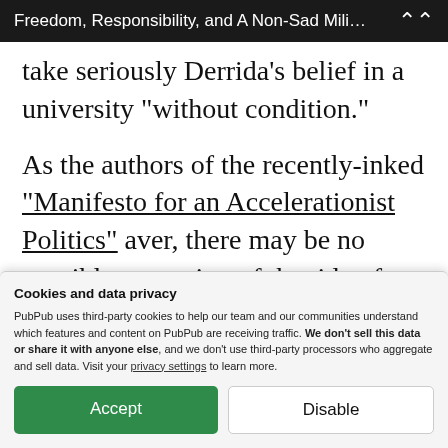Freedom, Responsibility, and A Non-Sad Mili…
take seriously Derrida's belief in a university “without condition.”
As the authors of the recently-inked “Manifesto for an Accelerationist Politics” aver, there may be no possible stemming of the tide of neoliberal capital’s narrow-minded “imaginary” and hyper-
Cookies and data privacy
PubPub uses third-party cookies to help our team and our communities understand which features and content on PubPub are receiving traffic. We don't sell this data or share it with anyone else, and we don't use third-party processors who aggregate and sell data. Visit your privacy settings to learn more.
Accept
Disable